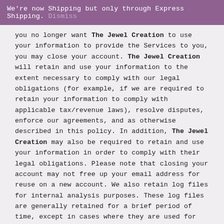We're now Shipping but only through Express Shipping. Dismiss
you no longer want The Jewel Creation to use your information to provide the Services to you, you may close your account. The Jewel Creation will retain and use your information to the extent necessary to comply with our legal obligations (for example, if we are required to retain your information to comply with applicable tax/revenue laws), resolve disputes, enforce our agreements, and as otherwise described in this policy. In addition, The Jewel Creation may also be required to retain and use your information in order to comply with their legal obligations. Please note that closing your account may not free up your email address for reuse on a new account. We also retain log files for internal analysis purposes. These log files are generally retained for a brief period of time, except in cases where they are used for site safety and security, to improve site functionality, or we are legally obligated to retain them for longer time periods.